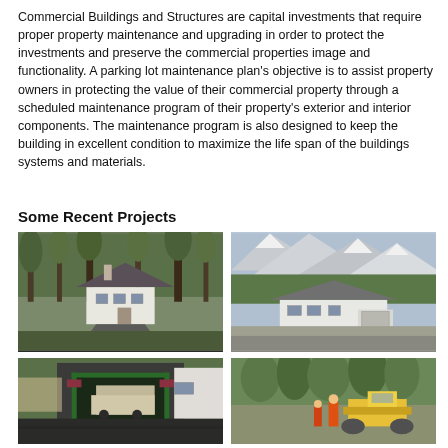Commercial Buildings and Structures are capital investments that require proper property maintenance and upgrading in order to protect the investments and preserve the commercial properties image and functionality. A parking lot maintenance plan's objective is to assist property owners in protecting the value of their commercial property through a scheduled maintenance program of their property's exterior and interior components. The maintenance program is also designed to keep the building in excellent condition to maximize the life span of the buildings systems and materials.
Some Recent Projects
[Figure (photo): Residential house with driveway surrounded by trees]
[Figure (photo): Aerial view of a white house with mountains and green trees in background]
[Figure (photo): Paved driveway leading into a garage with a truck inside]
[Figure (photo): Construction or paving equipment with workers in a field with trees]